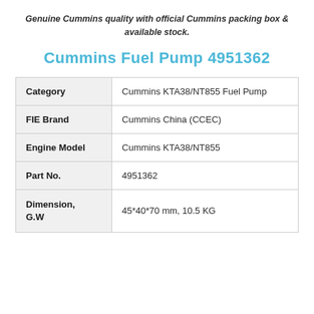Genuine Cummins quality with official Cummins packing box & available stock.
Cummins Fuel Pump 4951362
| Category | Cummins KTA38/NT855 Fuel Pump |
| FIE Brand | Cummins China (CCEC) |
| Engine Model | Cummins KTA38/NT855 |
| Part No. | 4951362 |
| Dimension, G.W | 45*40*70 mm, 10.5 KG |